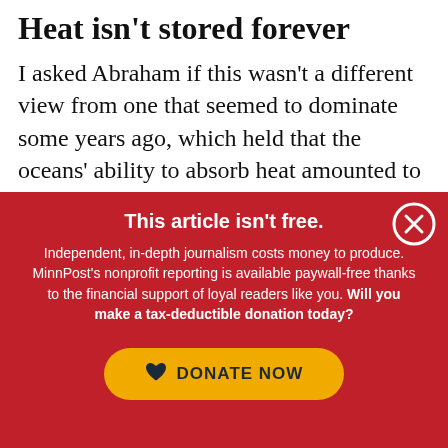Heat isn't stored forever
I asked Abraham if this wasn't a different view from one that seemed to dominate some years ago, which held that the oceans' ability to absorb heat amounted to an unexpected lucky break because they were basically storing the
This article isn't free.
Independent, in-depth journalism costs money to produce. MinnPost's nonprofit reporting is available paywall-free thanks to the financial support of loyal readers like you. Will you make a tax-deductible donation today?
DONATE NOW